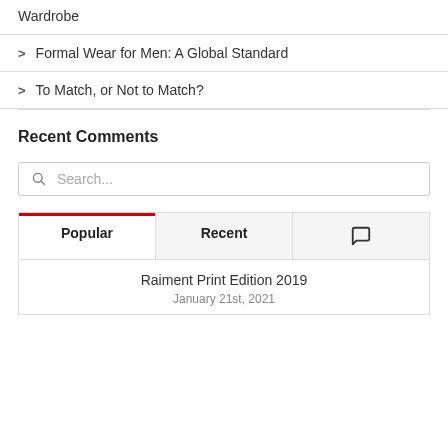Wardrobe
Formal Wear for Men: A Global Standard
To Match, or Not to Match?
Recent Comments
Search...
Popular | Recent | [comment icon]
Raiment Print Edition 2019
January 21st, 2021